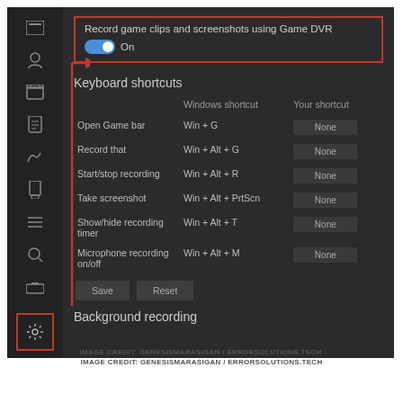[Figure (screenshot): Windows 10 Game DVR settings screenshot showing Game Bar record settings and keyboard shortcuts. A red border highlights 'Record game clips and screenshots using Game DVR' toggle set to On. A red arrow points from the settings (gear) icon in the sidebar to the highlighted toggle option. Keyboard shortcuts table lists: Open Game bar (Win+G), Record that (Win+Alt+G), Start/stop recording (Win+Alt+R), Take screenshot (Win+Alt+PrtScn), Show/hide recording timer (Win+Alt+T), Microphone recording on/off (Win+Alt+M). Each has a 'None' custom shortcut. Save and Reset buttons appear below. Background recording section is at the bottom.]
IMAGE CREDIT: GENESISMARASIGAN / ERRORSOLUTIONS.TECH